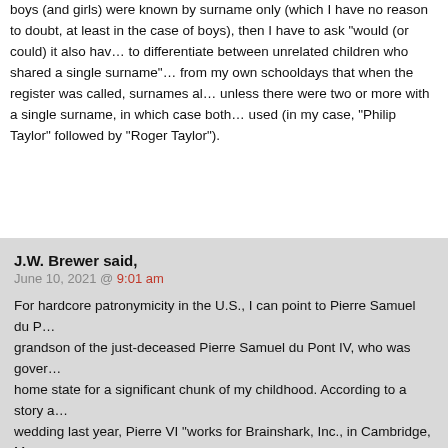boys (and girls) were known by surname only (which I have no reason to doubt, at least in the case of boys), then I have to ask "would (or could) it also have been used to differentiate between unrelated children who shared a single surname?" I know from my own schooldays that when the register was called, surnames alone were used unless there were two or more with a single surname, in which case both forenames were used (in my case, "Philip Taylor" followed by "Roger Taylor").
J.W. Brewer said,
June 10, 2021 @ 9:01 am

For hardcore patronymicity in the U.S., I can point to Pierre Samuel du Pont VI, grandson of the just-deceased Pierre Samuel du Pont IV, who was governor of my home state for a significant chunk of my childhood. According to a story about his wedding last year, Pierre VI "works for Brainshark, Inc., in Cambridge, Ma., as a strategist," which seems rather undynastic. Wherever you draw your "isogloss" line between honor and non-honor culture in the U.S., the du Ponts are going to be (at just barely) on the non- side of it.

I have met in person William Howard Taft V (family also from the non- side of things) but I don't know if he has a son and if so whether the name has been passed on for another iteration.

But to loop back to the earlier theme, it would IMHO be really weird to treat the use of roman numerals in gendered/patriarchal naming conventions as a reason to discuss roman numerals in unrelated contexts on account of the naming...